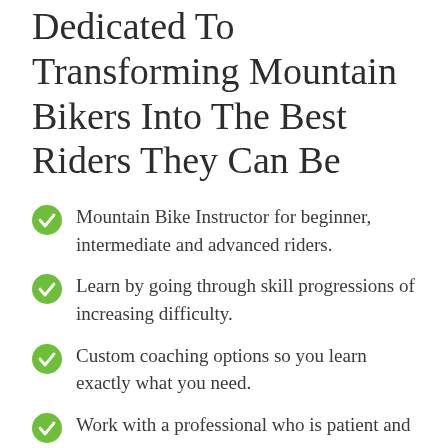Dedicated To Transforming Mountain Bikers Into The Best Riders They Can Be
Mountain Bike Instructor for beginner, intermediate and advanced riders.
Learn by going through skill progressions of increasing difficulty.
Custom coaching options so you learn exactly what you need.
Work with a professional who is patient and